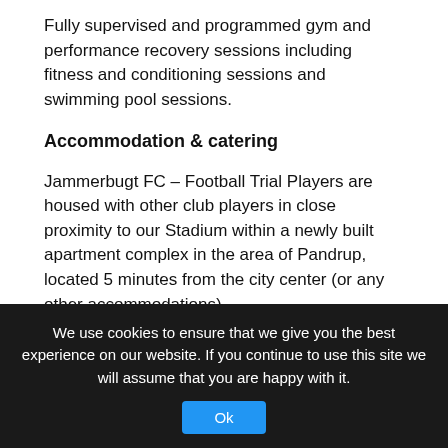Fully supervised and programmed gym and performance recovery sessions including fitness and conditioning sessions and swimming pool sessions.
Accommodation & catering
Jammerbugt FC – Football Trial Players are housed with other club players in close proximity to our Stadium within a newly built apartment complex in the area of Pandrup, located 5 minutes from the city center (or any other accommodations).
Players will reside in self-contained apartments with bedrooms sleeping 2, 3 or 4 players. Each apartment has a communal lounge/dining area adjoining a fully equipped kitchen and bathroom and WiFi.
Players will receive 3 meals per day (breakfast, lunch and dinner).
We use cookies to ensure that we give you the best experience on our website. If you continue to use this site we will assume that you are happy with it.